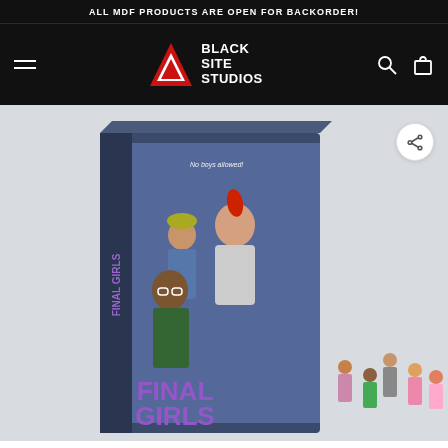ALL MDF PRODUCTS ARE OPEN FOR BACKORDER!
[Figure (logo): Black Site Studios logo — red triangle with BLACK SITE STUDIOS text in white on black background, with hamburger menu icon on left and search/cart icons on right]
[Figure (photo): Product photo of Final Girls miniature game box and character miniatures. Box cover shows illustrated female characters with text 'No boys allowed!' and 'FINAL GIRLS'. Several painted miniature figures are visible to the right of the box.]